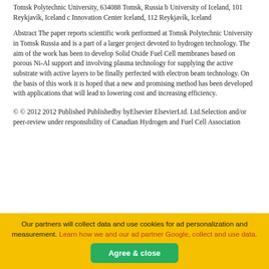Tomsk Polytechnic University, 634088 Tomsk, Russia b University of Iceland, 101 Reykjavík, Iceland c Innovation Center Iceland, 112 Reykjavík, Iceland
Abstract The paper reports scientific work performed at Tomsk Polytechnic University in Tomsk Russia and is a part of a larger project devoted to hydrogen technology. The aim of the work has been to develop Solid Oxide Fuel Cell membranes based on porous Ni-Al support and involving plasma technology for supplying the active substrate with active layers to be finally perfected with electron beam technology. On the basis of this work it is hoped that a new and promising method has been developed with applications that will lead to lowering cost and increasing efficiency.
© © 2012 2012 Published Publishedby byElsevier ElsevierLtd. Ltd.Selection and/or peer-review under responsibility of Canadian Hydrogen and Fuel Cell Association
(cut off text at bottom)
Our partners will collect data and use cookies for ad personalization and measurement. Learn how we and our ad partner Google, collect and use data.